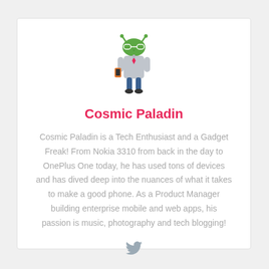[Figure (illustration): Android robot mascot wearing glasses and a suit, holding a smartphone, illustrated in green, gray, and orange colors]
Cosmic Paladin
Cosmic Paladin is a Tech Enthusiast and a Gadget Freak! From Nokia 3310 from back in the day to OnePlus One today, he has used tons of devices and has dived deep into the nuances of what it takes to make a good phone. As a Product Manager building enterprise mobile and web apps, his passion is music, photography and tech blogging!
[Figure (logo): Twitter bird icon in gray]